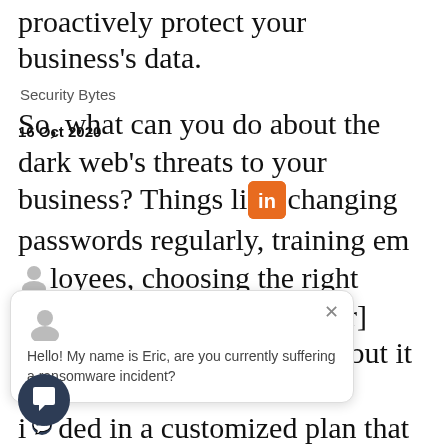proactively protect your business's data.
Security Bytes
16 Oct 2020
So, what can you do about the dark web's threats to your business? Things like changing passwords regularly, training employees, choosing the right [software], encrypting [your] data, among other [things], but it all must be included in a customized plan that is always reviewed, updated, and